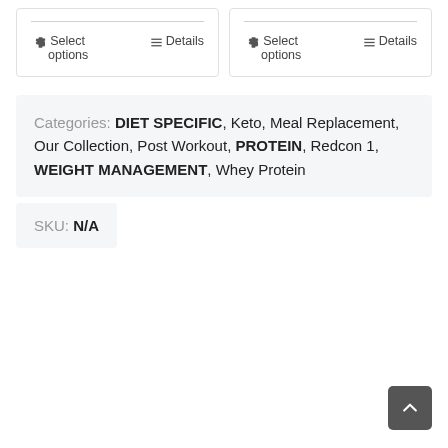Select options | Details (left card)
Select options | Details (right card)
Categories: DIET SPECIFIC, Keto, Meal Replacement, Our Collection, Post Workout, PROTEIN, Redcon 1, WEIGHT MANAGEMENT, Whey Protein
SKU: N/A